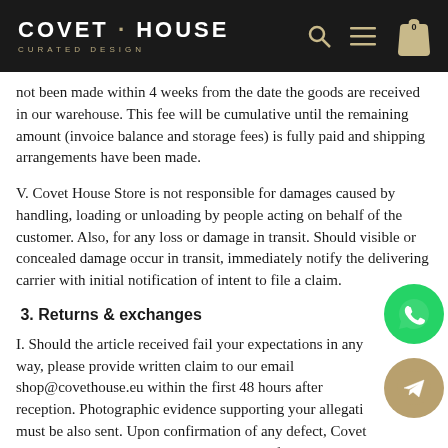COVET · HOUSE CURATED DESIGN
not been made within 4 weeks from the date the goods are received in our warehouse. This fee will be cumulative until the remaining amount (invoice balance and storage fees) is fully paid and shipping arrangements have been made.
V. Covet House Store is not responsible for damages caused by handling, loading or unloading by people acting on behalf of the customer. Also, for any loss or damage in transit. Should visible or concealed damage occur in transit, immediately notify the delivering carrier with initial notification of intent to file a claim.
3. Returns & exchanges
I. Should the article received fail your expectations in any way, please provide written claim to our email shop@covethouse.eu within the first 48 hours after reception. Photographic evidence supporting your allegations must be also sent. Upon confirmation of any defect, Covet House Shop compromises to replace the defective part/piece integrally, within a period agreed with the client. The defective part/piece must be received by Covet House Store in its original package before any replacement can be